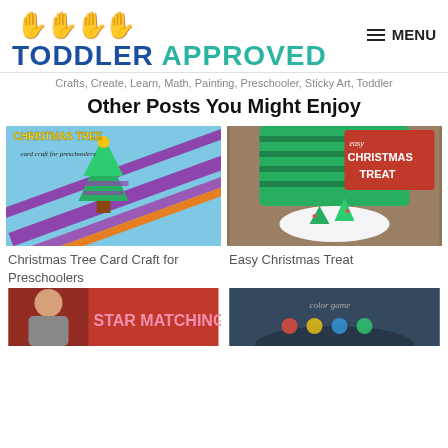TODDLER APPROVED — Crafts, Create, Learn, Math, Painting, Preschooler, Sticky Art, Toddler
Other Posts You Might Enjoy
[Figure (photo): Christmas tree card craft on blue background with decorative ribbon and paper cutout tree]
[Figure (photo): Child in green striped shirt making easy Christmas treat with frosting trees on plate]
Christmas Tree Card Craft for Preschoolers
Easy Christmas Treat
[Figure (photo): Star Matching activity — red background with text STAR MATCHING]
[Figure (photo): Color game activity on dark background with text color game]